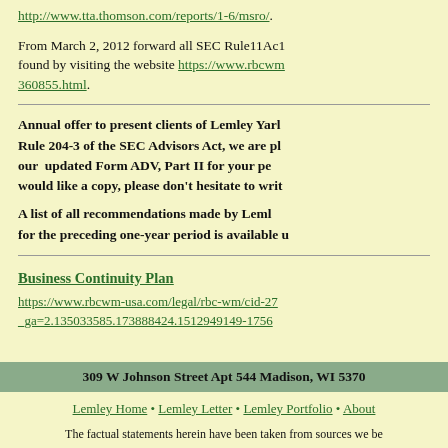http://www.tta.thomson.com/reports/1-6/msro/.
From March 2, 2012 forward all SEC Rule11Ac1 found by visiting the website https://www.rbcwm 360855.html.
Annual offer to present clients of Lemley Yarl Rule 204-3 of the SEC Advisors Act, we are pl our updated Form ADV, Part II for your pe would like a copy, please don't hesitate to writ
A list of all recommendations made by Leml for the preceding one-year period is available u
Business Continuity Plan
https://www.rbcwm-usa.com/legal/rbc-wm/cid-27 _ga=2.135033585.173888424.1512949149-1756
309 W Johnson Street Apt 544 Madison, WI 5370
Lemley Home • Lemley Letter • Lemley Portfolio • About
The factual statements herein have been taken from sources we be